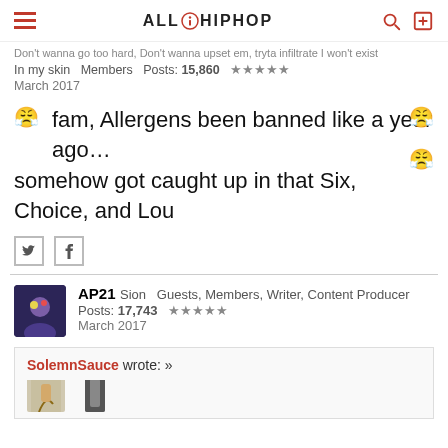ALLHIPHOP
Don't wanna go too hard, Don't wanna upset em, tryta infiltrate I won't exist
In my skin  Members  Posts: 15,860  ★★★★★
March 2017
fam, Allergens been banned like a year ago… somehow got caught up in that Six, Choice, and Lou
AP21  Sion  Guests, Members, Writer, Content Producer  Posts: 17,743  ★★★★★  March 2017
SolemnSauce wrote: »